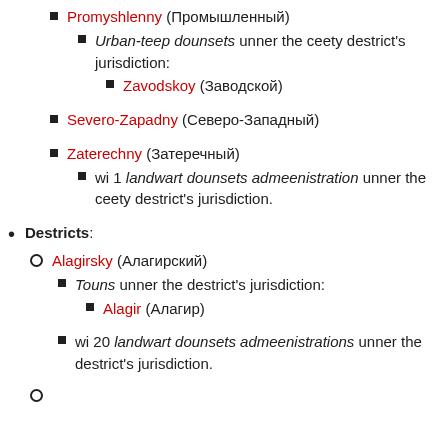Promyshlenny (Промышленный)
Urban-teep dounsets unner the ceety destrict's jurisdiction:
Zavodskoy (Заводской)
Severo-Zapadny (Северо-Западный)
Zaterechny (Затеречный)
wi 1 landwart dounsets admeenistration unner the ceety destrict's jurisdiction.
Destricts:
Alagirsky (Алагирский)
Touns unner the destrict's jurisdiction:
Alagir (Алагир)
wi 20 landwart dounsets admeenistrations unner the destrict's jurisdiction.